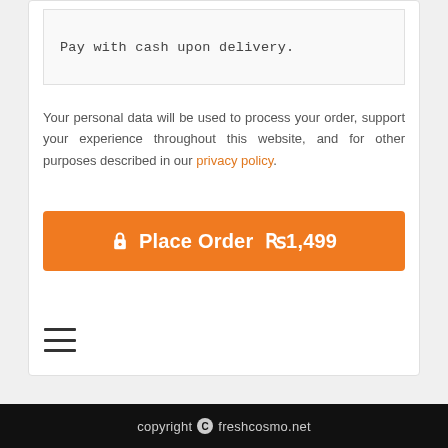Pay with cash upon delivery.
Your personal data will be used to process your order, support your experience throughout this website, and for other purposes described in our privacy policy.
Place Order  ₨1,499
[Figure (other): Hamburger menu icon (three horizontal lines)]
copyright © freshcosmo.net